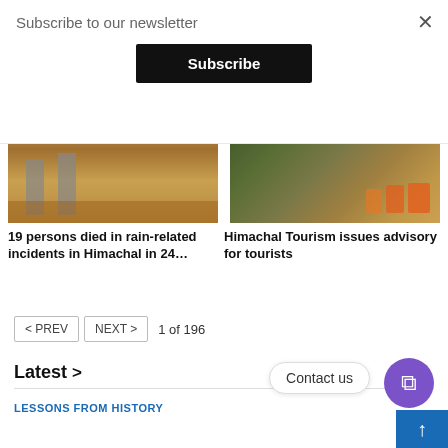Subscribe to our newsletter
Subscribe
[Figure (photo): Flood water rushing around concrete bridge pillars in Himachal Pradesh]
19 persons died in rain-related incidents in Himachal in 24…
[Figure (photo): Rescue workers in orange uniforms working on a rocky landslide area]
Himachal Tourism issues advisory for tourists
< PREV  NEXT >  1 of 196
Latest >
Contact us
LESSONS FROM HISTORY